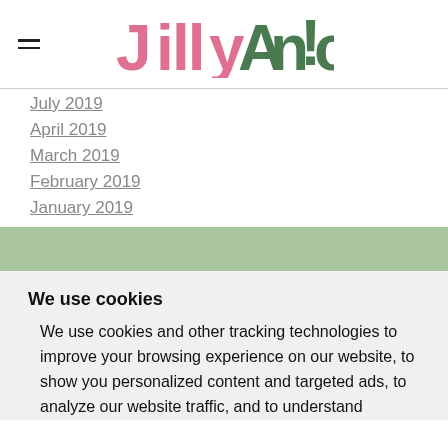JillyAnic [logo]
July 2019
April 2019
March 2019
February 2019
January 2019
We use cookies
We use cookies and other tracking technologies to improve your browsing experience on our website, to show you personalized content and targeted ads, to analyze our website traffic, and to understand